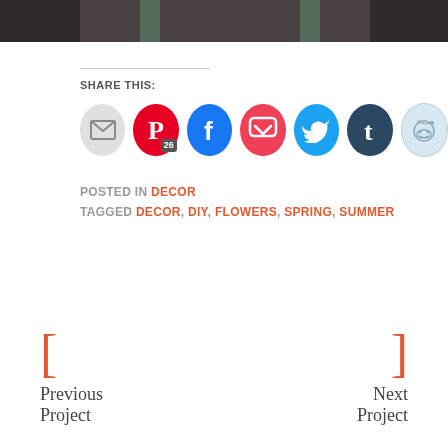[Figure (photo): Partial photo of a green painted item against dark background, cropped at top of page]
SHARE THIS:
[Figure (infographic): Row of social sharing icon buttons: Email (grey circle), Pinterest (red circle with P and badge 26), Facebook (blue circle with f), Pocket (pink circle with P), Twitter (cyan circle with bird), Tumblr (dark blue circle with t), Reddit (light blue circle with alien)]
POSTED IN DECOR
TAGGED DECOR, DIY, FLOWERS, SPRING, SUMMER
Previous Project
Next Project